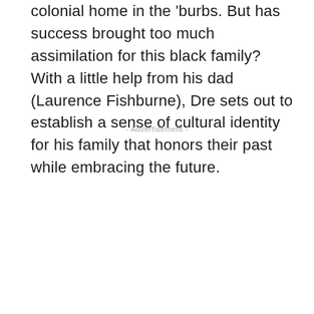colonial home in the 'burbs. But has success brought too much assimilation for this black family? With a little help from his dad (Laurence Fishburne), Dre sets out to establish a sense of cultural identity for his family that honors their past while embracing the future.
- Advertisement -